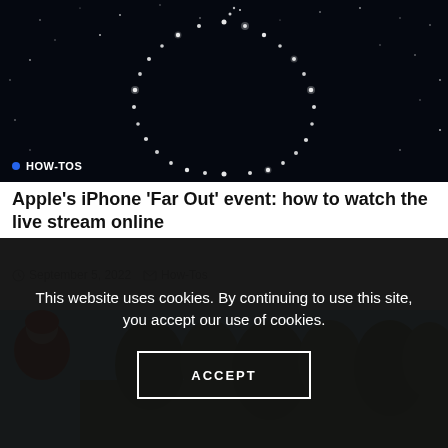[Figure (photo): Dark starfield image showing glowing dots arranged in an Apple logo / circle shape against a black sky background. Category badge 'HOW-TOS' overlaid at bottom left with blue dot.]
Apple's iPhone 'Far Out' event: how to watch the live stream online
September 5, 2022   How-Tos
[Figure (photo): Partial image showing a person in orange jacket and trees with blue sky, partially obscured by cookie consent banner.]
This website uses cookies. By continuing to use this site, you accept our use of cookies.

ACCEPT